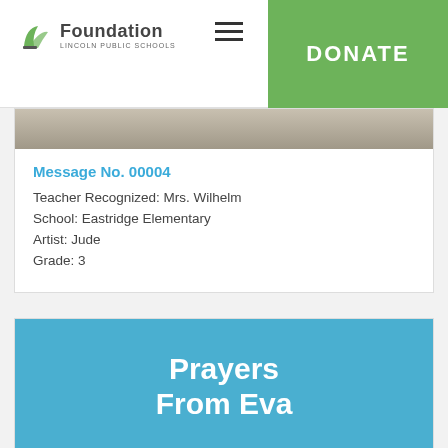Foundation Lincoln Public Schools | DONATE
[Figure (photo): Partial view of a stone or concrete surface, cropped at top of card]
Message No. 00004
Teacher Recognized: Mrs. Wilhelm
School: Eastridge Elementary
Artist: Jude
Grade: 3
[Figure (illustration): Blue card with white bold text reading 'Prayers From Eva']